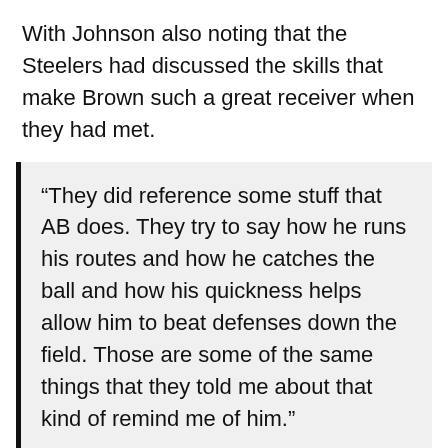With Johnson also noting that the Steelers had discussed the skills that make Brown such a great receiver when they had met.
“They did reference some stuff that AB does. They try to say how he runs his routes and how he catches the ball and how his quickness helps allow him to beat defenses down the field. Those are some of the same things that they told me about that kind of remind me of him.”
Simply being the same size and coming from the same conference is far from enough to suggest the second coming of AB, but it would appear that wide receiver coach Daryl Drake is extremely happy with his new player.